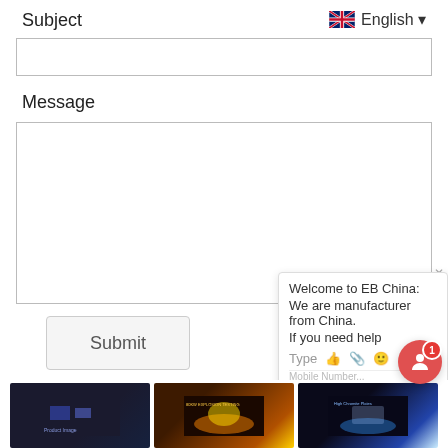Subject
English ▾
Message
Submit
Welcome to EB China:
We are manufacturer from China.
If you need help
Type
[Figure (screenshot): Three product thumbnail images at the bottom of the page]
[Figure (screenshot): Chat notification button with red badge showing 1]